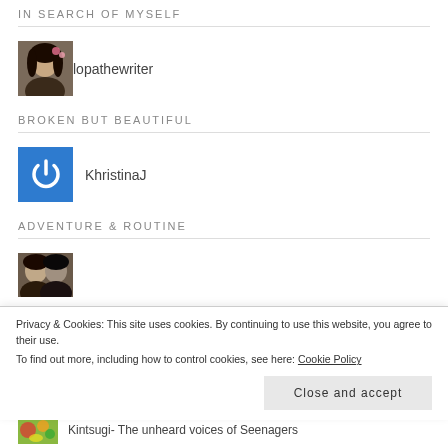IN SEARCH OF MYSELF
[Figure (photo): Profile photo of lopathewriter - a woman with dark hair and flowers]
lopathewriter
BROKEN BUT BEAUTIFUL
[Figure (logo): Blue square with white power/on button icon representing KhristinaJ]
KhristinaJ
ADVENTURE & ROUTINE
[Figure (photo): Partial profile photo showing two people]
Privacy & Cookies: This site uses cookies. By continuing to use this website, you agree to their use.
To find out more, including how to control cookies, see here: Cookie Policy
Close and accept
[Figure (photo): Colorful image thumbnail]
Kintsugi- The unheard voices of Seenagers